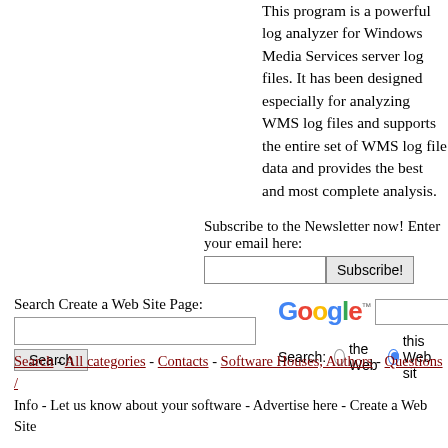This program is a powerful log analyzer for Windows Media Services server log files. It has been designed especially for analyzing WMS log files and supports the entire set of WMS log file data and provides the best and most complete analysis.
Subscribe to the Newsletter now! Enter your email here:
Search Create a Web Site Page:
Search: the Web  this Web sit
Search - All categories - Contacts - Software Houses, Authors - Questions / Info - Let us know about your software - Advertise here - Create a Web Site